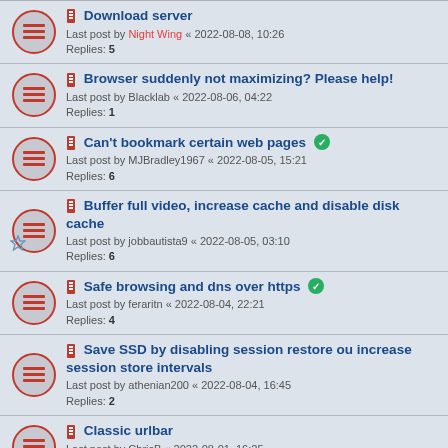Download server — Last post by Night Wing « 2022-08-08, 10:26 — Replies: 5
Browser suddenly not maximizing? Please help! — Last post by Blacklab « 2022-08-06, 04:22 — Replies: 1
Can't bookmark certain web pages [solved] — Last post by MJBradley1967 « 2022-08-05, 15:21 — Replies: 6
Buffer full video, increase cache and disable disk cache — Last post by jobbautista9 « 2022-08-05, 03:10 — Replies: 6
Safe browsing and dns over https [solved] — Last post by feraritn « 2022-08-04, 22:21 — Replies: 4
Save SSD by disabling session restore ou increase session store intervals — Last post by athenian200 « 2022-08-04, 16:45 — Replies: 2
Classic urlbar — Last post by ChrisB « 2022-08-01, 16:25 — Replies: 10
New Topic | Sort | Mark topics read • 10313 topics | Page 1 2 3 4 5 ... 413 | Jump to